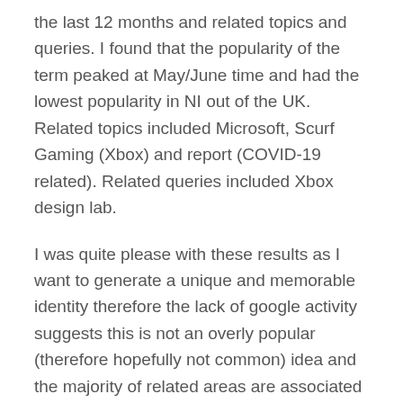the last 12 months and related topics and queries. I found that the popularity of the term peaked at May/June time and had the lowest popularity in NI out of the UK. Related topics included Microsoft, Scurf Gaming (Xbox) and report (COVID-19 related). Related queries included Xbox design lab.
I was quite please with these results as I want to generate a unique and memorable identity therefore the lack of google activity suggests this is not an overly popular (therefore hopefully not common) idea and the majority of related areas are associated with tech and gaming companies. These are good associations and potentially will be helpful in providing further inspiration in the development of my theme.
I also looked up terms such as web design, app design, UX design, user experience design, UI design, user interface design, wireframing concept ideation, iconography etc in order to generate an understanding